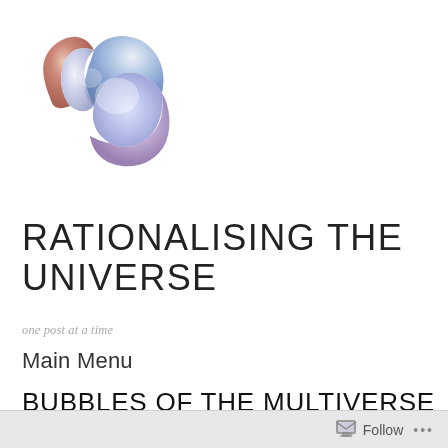[Figure (illustration): Abstract 3D rendered shape resembling a twisted, ribbon-like torus knot with blue, purple, and orange metallic shading on a white background]
RATIONALISING THE UNIVERSE
one post at a time
Main Menu
BUBBLES OF THE MULTIVERSE
October 13, 2016 · by Mokhi Dhosi · in Cosmology, Science
Follow ...